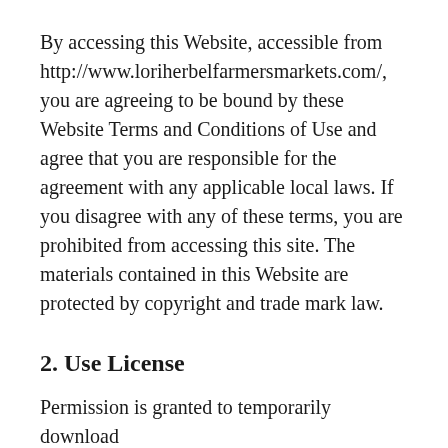By accessing this Website, accessible from http://www.loriherbelfarmersmarkets.com/, you are agreeing to be bound by these Website Terms and Conditions of Use and agree that you are responsible for the agreement with any applicable local laws. If you disagree with any of these terms, you are prohibited from accessing this site. The materials contained in this Website are protected by copyright and trade mark law.
2. Use License
Permission is granted to temporarily download